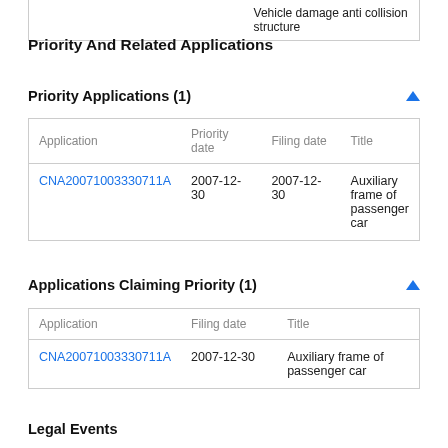|  | Vehicle damage anti collision structure |
Priority And Related Applications
Priority Applications (1)
| Application | Priority date | Filing date | Title |
| --- | --- | --- | --- |
| CNA20071003307 11A | 2007-12-30 | 2007-12-30 | Auxiliary frame of passenger car |
Applications Claiming Priority (1)
| Application | Filing date | Title |
| --- | --- | --- |
| CNA20071003307 11A | 2007-12-30 | Auxiliary frame of passenger car |
Legal Events